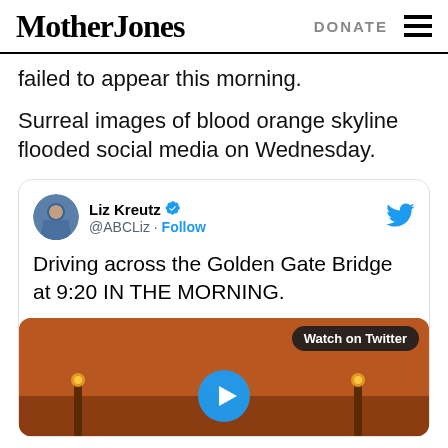Mother Jones | DONATE
failed to appear this morning.
Surreal images of blood orange skyline flooded social media on Wednesday.
[Figure (screenshot): Embedded tweet from @ABCLiz (Liz Kreutz) with verified badge and Follow link, text reads: 'Driving across the Golden Gate Bridge at 9:20 IN THE MORNING.' with a video thumbnail showing an orange-sky scene and a 'Watch on Twitter' button.]